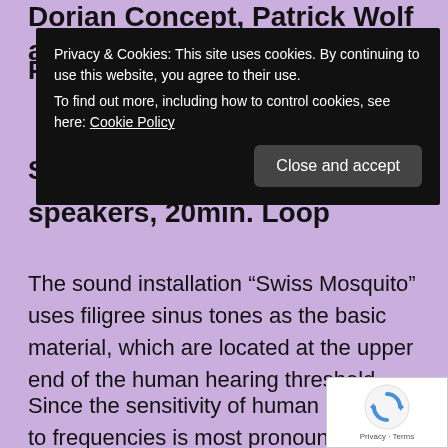Dorian Concept, Patrick Wolf and Patrick
P…
S…
speakers, 20min. Loop
[Figure (screenshot): Cookie consent banner with dark background reading: 'Privacy & Cookies: This site uses cookies. By continuing to use this website, you agree to their use. To find out more, including how to control cookies, see here: Cookie Policy' with a 'Close and accept' button.]
The sound installation “Swiss Mosquito” uses filigree sinus tones as the basic material, which are located at the upper end of the human hearing threshold.
Since the sensitivity of human hearing to frequencies is most pronounced at a young age and gradually decreases over the course
[Figure (logo): reCAPTCHA badge with rotating arrows logo and 'Privacy - Terms' text]